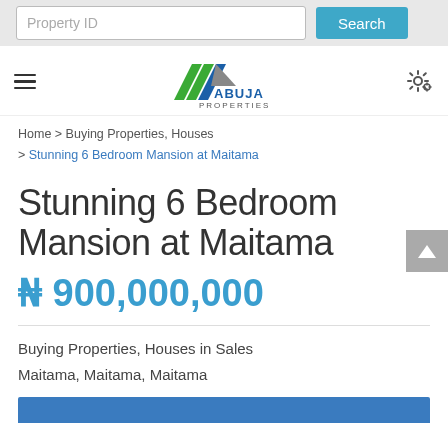Property ID  Search
[Figure (logo): Abuja Properties logo with blue and green arrow-shaped chevrons and text ABUJA PROPERTIES]
Home > Buying Properties, Houses > Stunning 6 Bedroom Mansion at Maitama
Stunning 6 Bedroom Mansion at Maitama
₦ 900,000,000
Buying Properties, Houses in Sales
Maitama, Maitama, Maitama